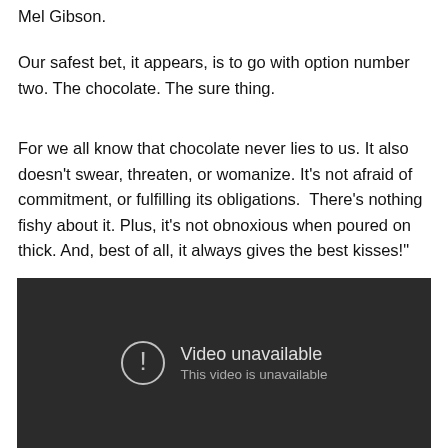Mel Gibson.
Our safest bet, it appears, is to go with option number two. The chocolate. The sure thing.
For we all know that chocolate never lies to us. It also doesn't swear, threaten, or womanize. It's not afraid of commitment, or fulfilling its obligations.  There's nothing fishy about it. Plus, it's not obnoxious when poured on thick. And, best of all, it always gives the best kisses!"
[Figure (screenshot): Embedded video player showing 'Video unavailable — This video is unavailable' error message on a dark background.]